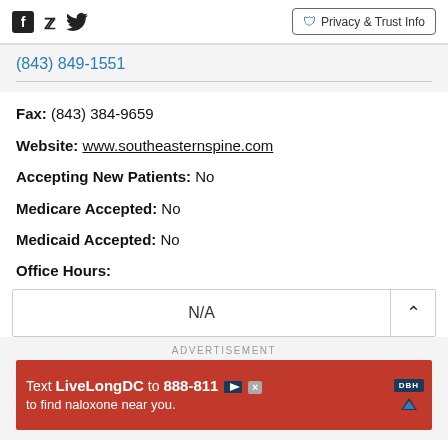Facebook Twitter | Privacy & Trust Info
(843) 849-1551
Fax: (843) 384-9659
Website: www.southeasternspine.com
Accepting New Patients: No
Medicare Accepted: No
Medicaid Accepted: No
Office Hours:
N/A
ADVERTISEMENT
[Figure (other): Red advertisement banner: Text LiveLongDC to 888-811 to find naloxone near you.]